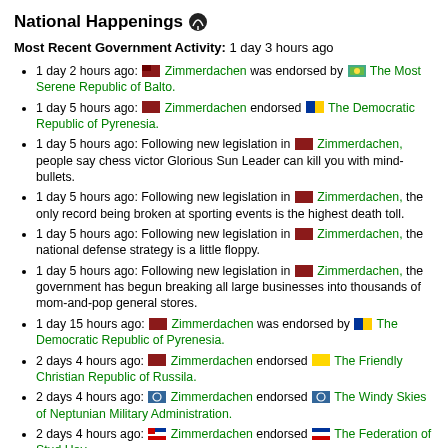National Happenings 📡
Most Recent Government Activity: 1 day 3 hours ago
1 day 2 hours ago: [flag] Zimmerdachen was endorsed by [flag] The Most Serene Republic of Balto.
1 day 5 hours ago: [flag] Zimmerdachen endorsed [flag] The Democratic Republic of Pyrenesia.
1 day 5 hours ago: Following new legislation in [flag] Zimmerdachen, people say chess victor Glorious Sun Leader can kill you with mind-bullets.
1 day 5 hours ago: Following new legislation in [flag] Zimmerdachen, the only record being broken at sporting events is the highest death toll.
1 day 5 hours ago: Following new legislation in [flag] Zimmerdachen, the national defense strategy is a little floppy.
1 day 5 hours ago: Following new legislation in [flag] Zimmerdachen, the government has begun breaking all large businesses into thousands of mom-and-pop general stores.
1 day 15 hours ago: [flag] Zimmerdachen was endorsed by [flag] The Democratic Republic of Pyrenesia.
2 days 4 hours ago: [flag] Zimmerdachen endorsed [flag] The Friendly Christian Republic of Russila.
2 days 4 hours ago: [flag] Zimmerdachen endorsed [flag] The Windy Skies of Neptunian Military Administration.
2 days 4 hours ago: [flag] Zimmerdachen endorsed [flag] The Federation of Stud Hoy.
More...